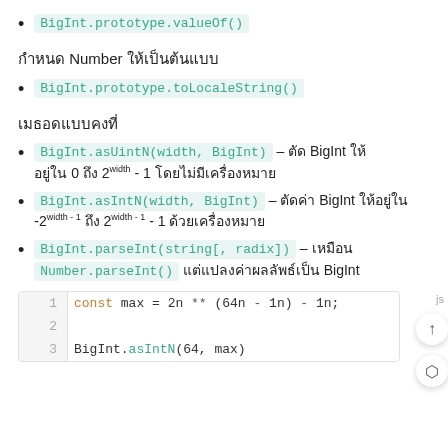BigInt.prototype.valueOf()
กำหนด Number ให้เป็นต้นแบบ
BigInt.prototype.toLocaleString()
เมธอดแบบคงที่
BigInt.asUintN(width, BigInt) – ตัด BigInt ให้อยู่ใน 0 ถึง 2^width - 1 โดยไม่มีเครื่องหมาย
BigInt.asIntN(width, BigInt) – ตัดค่า BigInt ให้อยู่ใน -2^width - 1 ถึง 2^width - 1 - 1 ด้วยเครื่องหมาย
BigInt.parseInt(string[, radix]) – เหมือน Number.parseInt() แต่แปลงค่าผลลัพธ์เป็น BigInt
[Figure (screenshot): Code block showing: line 1: const max = 2n ** (64n - 1n) - 1n; line 2: (empty); line 3: BigInt.asIntN(64, max)]